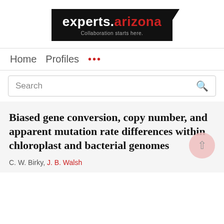[Figure (logo): experts.arizona logo with tagline 'Collaboration starts here.' on black background]
Home   Profiles   ...
Search
Biased gene conversion, copy number, and apparent mutation rate differences within chloroplast and bacterial genomes
C. W. Birky, J. B. Walsh